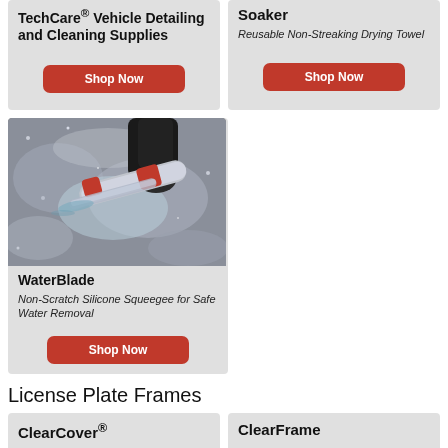TechCare® Vehicle Detailing and Cleaning Supplies
Shop Now
Soaker
Reusable Non-Streaking Drying Towel
Shop Now
[Figure (photo): Hand using a red-handled WaterBlade silicone squeegee on a frosted/wet car surface]
WaterBlade
Non-Scratch Silicone Squeegee for Safe Water Removal
Shop Now
License Plate Frames
ClearCover®
ClearFrame